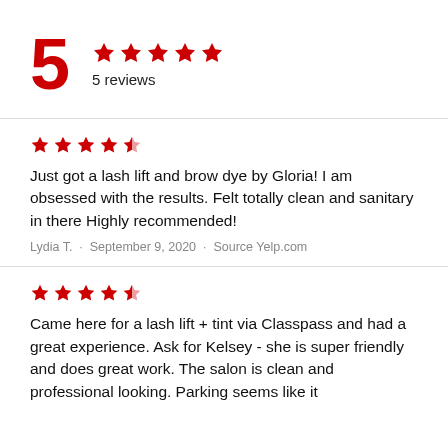5 ★★★★★ 5 reviews
★★★★½ Just got a lash lift and brow dye by Gloria! I am obsessed with the results. Felt totally clean and sanitary in there Highly recommended! — Lydia T. · September 9, 2020 · Source Yelp.com
★★★★½ Came here for a lash lift + tint via Classpass and had a great experience. Ask for Kelsey - she is super friendly and does great work. The salon is clean and professional looking. Parking seems like it